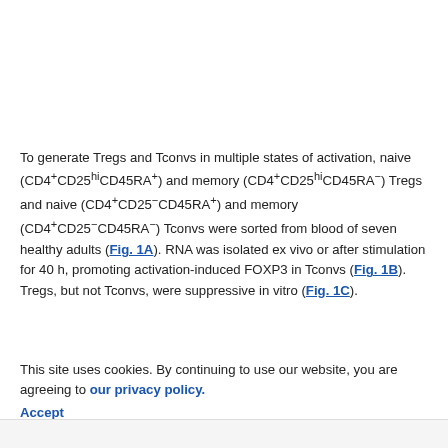To generate Tregs and Tconvs in multiple states of activation, naive (CD4+CD25hiCD45RA+) and memory (CD4+CD25hiCD45RA−) Tregs and naive (CD4+CD25−CD45RA+) and memory (CD4+CD25−CD45RA−) Tconvs were sorted from blood of seven healthy adults (Fig. 1A). RNA was isolated ex vivo or after stimulation for 40 h, promoting activation-induced FOXP3 in Tconvs (Fig. 1B). Tregs, but not Tconvs, were suppressive in vitro (Fig. 1C).
This site uses cookies. By continuing to use our website, you are agreeing to our privacy policy. Accept